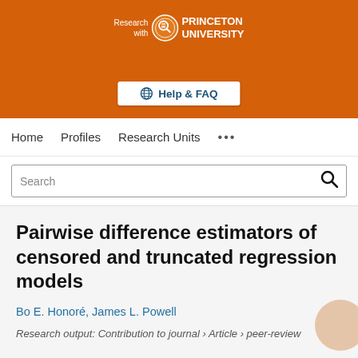[Figure (logo): Princeton University 'Research with Princeton University' logo with seal on orange background, with Help & FAQ button below]
Home  Profiles  Research Units  ...
Search
Pairwise difference estimators of censored and truncated regression models
Bo E. Honoré, James L. Powell
Research output: Contribution to journal › Article › peer-review